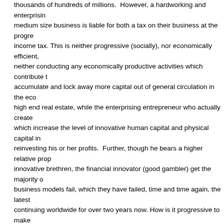thousands of hundreds of millions.  However, a hardworking and enterprising medium size business is liable for both a tax on their business at the progressive income tax. This is neither progressive (socially), nor economically efficient, neither conducting any economically productive activities which contribute to accumulate and lock away more capital out of general circulation in the economy high end real estate, while the enterprising entrepreneur who actually creates which increase the level of innovative human capital and physical capital in reinvesting his or her profits.  Further, though he bears a higher relative proportion innovative brethren, the financial innovator (good gambler) get the majority of business models fail, which they have failed, time and time again, the latest continuing worldwide for over two years now. How is it progressive to make with nothing but their human capital to deploy the financial capital they earn those who already have accumulated vast amounts of wealth and continue on a keyboard wagering on the next big thing created by the small entrepreneur they will be bailed out if their bets go horribly wrong,and that they get to keep other peoples savings even if they lose more than they made anyhow?  This state for the wealthy.  How does this contribute to growth in the real economy
Add on top of this the social security tax, the most regressive of all taxes where workers must pay 12.5% of their wages to pay for the retired population joining on top of this one more outdated relic hallmark content that the